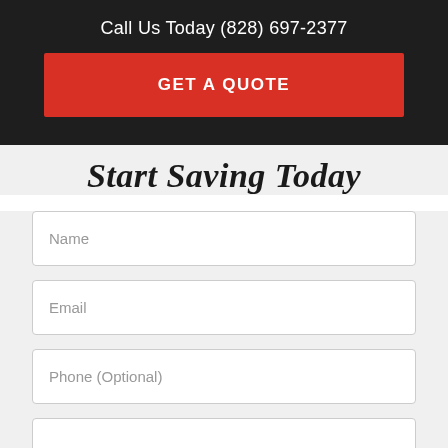Call Us Today (828) 697-2377
GET A QUOTE
Start Saving Today
Name
Email
Phone (Optional)